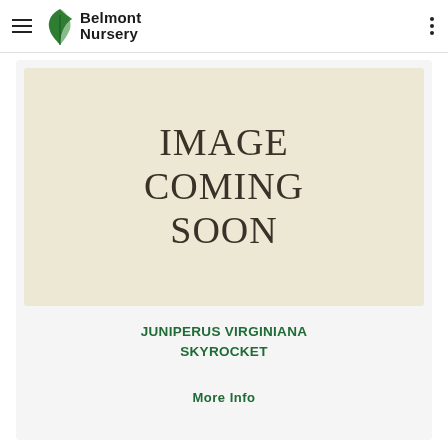Belmont Nursery
[Figure (other): Placeholder image with text reading IMAGE COMING SOON on a beige/tan background]
JUNIPERUS VIRGINIANA SKYROCKET
More Info